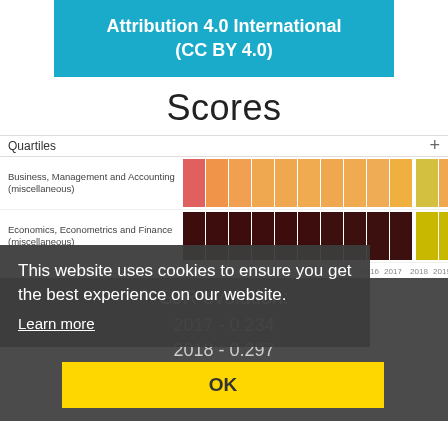Attribution 4.0 International (CC BY 4.0)
Scores
[Figure (other): Quartiles heatmap showing color-coded quartile scores by year for Business, Management and Accounting (miscellaneous) and Economics, Econometrics and Finance (miscellaneous). Years shown include 2016, 2017, 2018, 2019.]
This website uses cookies to ensure you get the best experience on our website.
Learn more
SJR evolution:
2017 - 0.234
2018 - 0.297
2019 - 0.274
SNIP evolution:
OK